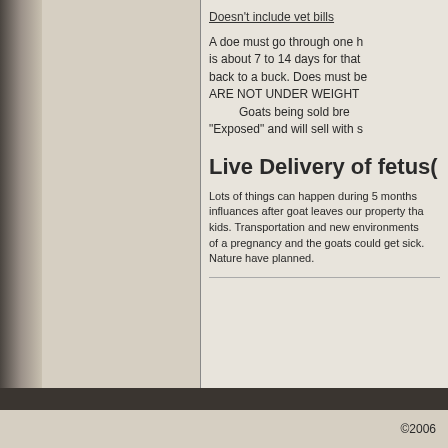Doesn't include vet bills
A doe must go through one heat cycle before being bred back to a buck. Does must be ARE NOT UNDER WEIGHT
        Goats being sold bre "Exposed" and will sell with s
Live Delivery of fetus(
Lots of things can happen during 5 months influances after goat leaves our property tha kids. Transportation and new environments of a pregnancy and the goats could get sick. Nature have planned.
©2006